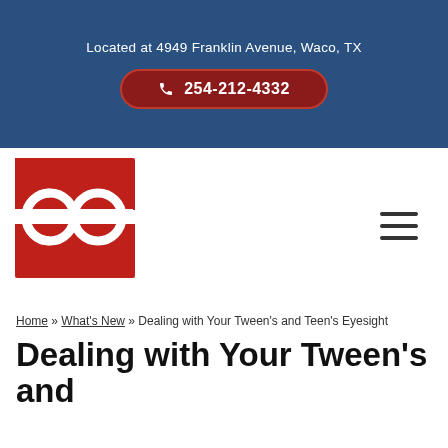Located at 4949 Franklin Avenue, Waco, TX
254-212-4332
[Figure (logo): Eye care practice logo — red square background with white stylized 'ep' letters and circular lens shapes forming an eyeglasses design]
☰ hamburger menu icon
Home » What's New » Dealing with Your Tween's and Teen's Eyesight
Dealing with Your Tween's and